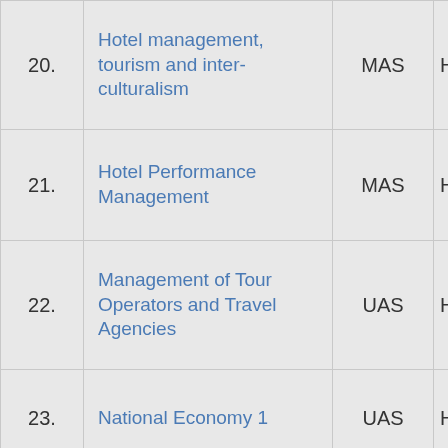| # | Course Name | Type | School |
| --- | --- | --- | --- |
| 20. | Hotel management, tourism and inter-culturalism | MAS | Hotel M... |
| 21. | Hotel Performance Management | MAS | Hotel M... |
| 22. | Management of Tour Operators and Travel Agencies | UAS | Hotel M... and To... Health... |
| 23. | National Economy 1 | UAS | Hotel M... and To... |
| 24. | National Economy 2 | UAS | Health... |
| 25. | Natural resources management | UAS | Hotel M... and To... Gastro... Manag... |